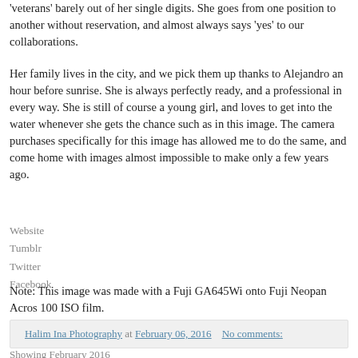'veterans' barely out of her single digits. She goes from one position to another without reservation, and almost always says 'yes' to our collaborations.
Her family lives in the city, and we pick them up thanks to Alejandro an hour before sunrise. She is always perfectly ready, and a professional in every way. She is still of course a young girl, and loves to get into the water whenever she gets the chance such as in this image. The camera purchases specifically for this image has allowed me to do the same, and come home with images almost impossible to make only a few years ago.
Website
Tumblr
Twitter
Facebook
Note: This image was made with a Fuji GA645Wi onto Fuji Neopan Acros 100 ISO film.
Halim Ina Photography at February 06, 2016   No comments:
Showing February 2016